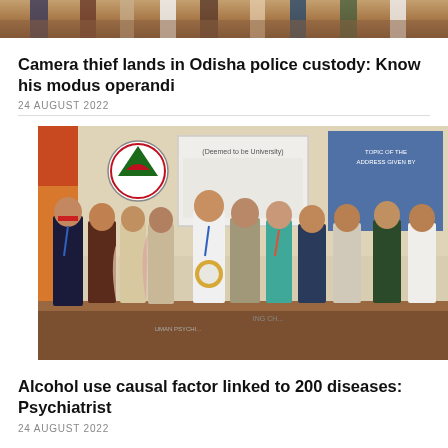[Figure (photo): Top portion of a photo, cropped at top of page, showing people in a gathering or event]
Camera thief lands in Odisha police custody: Know his modus operandi
24 AUGUST 2022
[Figure (photo): Group photo of several men and a woman at what appears to be an academic or medical conference. A whiteboard/screen is visible in the background along with an institutional logo. One person is receiving an award or memento.]
Alcohol use causal factor linked to 200 diseases: Psychiatrist
24 AUGUST 2022